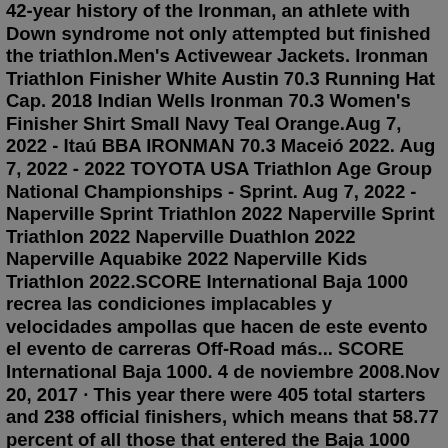42-year history of the Ironman, an athlete with Down syndrome not only attempted but finished the triathlon.Men's Activewear Jackets. Ironman Triathlon Finisher White Austin 70.3 Running Hat Cap. 2018 Indian Wells Ironman 70.3 Women's Finisher Shirt Small Navy Teal Orange.Aug 7, 2022 - Itaú BBA IRONMAN 70.3 Maceió 2022. Aug 7, 2022 - 2022 TOYOTA USA Triathlon Age Group National Championships - Sprint. Aug 7, 2022 - Naperville Sprint Triathlon 2022 Naperville Sprint Triathlon 2022 Naperville Duathlon 2022 Naperville Aquabike 2022 Naperville Kids Triathlon 2022.SCORE International Baja 1000 recrea las condiciones implacables y velocidades ampollas que hacen de este evento el evento de carreras Off-Road más... SCORE International Baja 1000. 4 de noviembre 2008.Nov 20, 2017 · This year there were 405 total starters and 238 official finishers, which means that 58.77 percent of all those that entered the Baja 1000 made it to the finish line. READ MORE: Apdaly Lopez Wins ... apartments for rent in pontiac auburn hills area Baja-